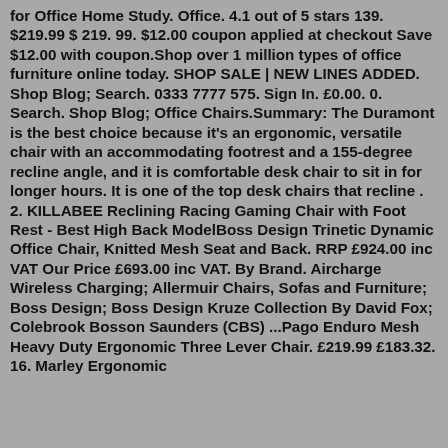for Office Home Study. Office. 4.1 out of 5 stars 139. $219.99 $ 219. 99. $12.00 coupon applied at checkout Save $12.00 with coupon.Shop over 1 million types of office furniture online today. SHOP SALE | NEW LINES ADDED. Shop Blog; Search. 0333 7777 575. Sign In. £0.00. 0. Search. Shop Blog; Office Chairs.Summary: The Duramont is the best choice because it's an ergonomic, versatile chair with an accommodating footrest and a 155-degree recline angle, and it is comfortable desk chair to sit in for longer hours. It is one of the top desk chairs that recline . 2. KILLABEE Reclining Racing Gaming Chair with Foot Rest - Best High Back ModelBoss Design Trinetic Dynamic Office Chair, Knitted Mesh Seat and Back. RRP £924.00 inc VAT Our Price £693.00 inc VAT. By Brand. Aircharge Wireless Charging; Allermuir Chairs, Sofas and Furniture; Boss Design; Boss Design Kruze Collection By David Fox; Colebrook Bosson Saunders (CBS) ...Pago Enduro Mesh Heavy Duty Ergonomic Three Lever Chair. £219.99 £183.32. 16. Marley Ergonomic